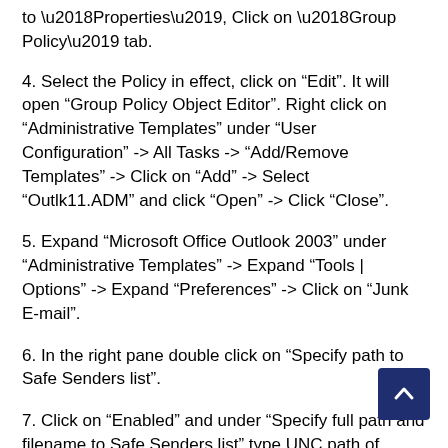to ‘Properties’, Click on ‘Group Policy’ tab.
4. Select the Policy in effect, click on “Edit”. It will open “Group Policy Object Editor”. Right click on “Administrative Templates” under “User Configuration” -> All Tasks -> “Add/Remove Templates” -> Click on “Add” -> Select “Outlk11.ADM” and click “Open” -> Click “Close”.
5. Expand “Microsoft Office Outlook 2003” under “Administrative Templates” -> Expand “Tools | Options” -> Expand “Preferences” -> Click on “Junk E-mail”.
6. In the right pane double click on “Specify path to Safe Senders list”.
7. Click on “Enabled” and under “Specify full path and filename to Safe Senders list” type UNC path of SafeSender.txt file (e.g.\\Server\JunkE-mail\SafeSenders.txt).